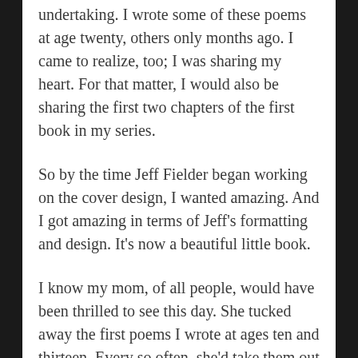undertaking. I wrote some of these poems at age twenty, others only months ago. I came to realize, too; I was sharing my heart. For that matter, I would also be sharing the first two chapters of the first book in my series.
So by the time Jeff Fielder began working on the cover design, I wanted amazing. And I got amazing in terms of Jeff’s formatting and design. It’s now a beautiful little book.
I know my mom, of all people, would have been thrilled to see this day. She tucked away the first poems I wrote at ages ten and thirteen. Every so often, she’d take them out and read them, smiling and shaking her head, sometimes laughing a little. She passed away three years ago, but I can still see her smiling.